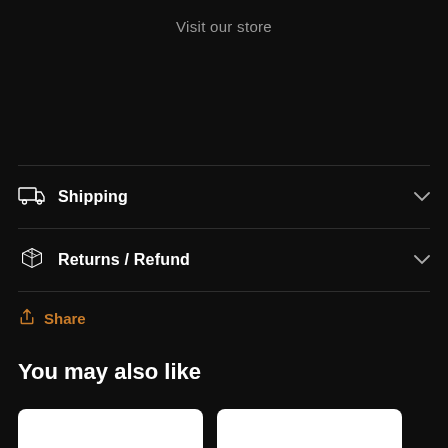Visit our store
Shipping
Returns / Refund
Share
You may also like
[Figure (other): Two white product card placeholders at the bottom of the page]